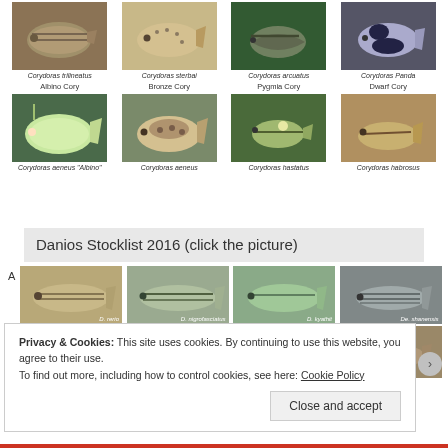[Figure (photo): Grid of 8 Corydoras fish photos arranged in 2 rows of 4, with scientific and common names below each photo. Row 1: Corydoras trilineatus, Corydoras sterbai, Corydoras arcuatus, Corydoras Panda. Row 2 common names: Albino Cory, Bronze Cory, Pygmia Cory, Dwarf Cory. Row 3: Corydoras aeneus Albino, Corydoras aeneus, Corydoras hastatus, Corydoras habrosus.]
Danios Stocklist 2016 (click the picture)
[Figure (photo): Grid of Danios fish photos. Top row shows 4 fish labeled D. rerio, D. nigrofasciatus, D. kyathit, De. shanensis. Second row shows 4 more danio fish partially visible. Label 'A' on left side.]
Privacy & Cookies: This site uses cookies. By continuing to use this website, you agree to their use.
To find out more, including how to control cookies, see here: Cookie Policy
Close and accept